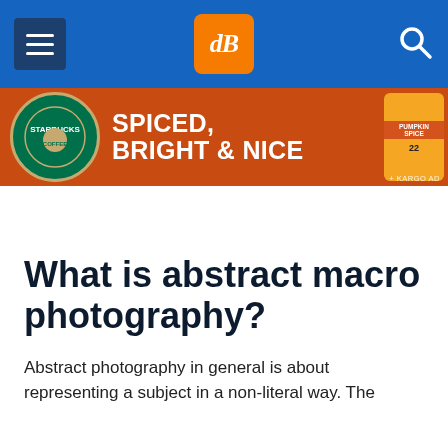dPS navigation header with hamburger menu, dPS logo, and search icon
[Figure (screenshot): Starbucks advertisement banner: orange/red background with Starbucks logo, text 'SPICED, BRIGHT & NICE', pumpkin spice product image on right, KARGO AD tag at bottom right]
What is abstract macro photography?
Abstract photography in general is about representing a subject in a non-literal way. The